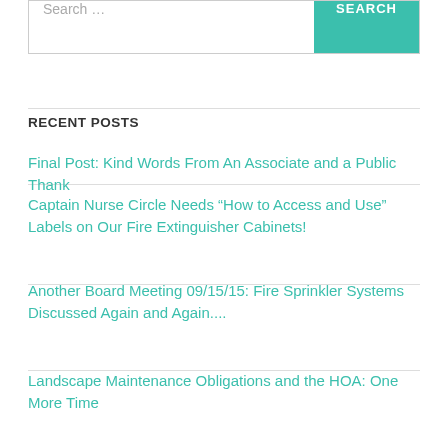Search …
RECENT POSTS
Final Post: Kind Words From An Associate and a Public Thank
Captain Nurse Circle Needs “How to Access and Use” Labels on Our Fire Extinguisher Cabinets!
Another Board Meeting 09/15/15: Fire Sprinkler Systems Discussed Again and Again....
Landscape Maintenance Obligations and the HOA: One More Time